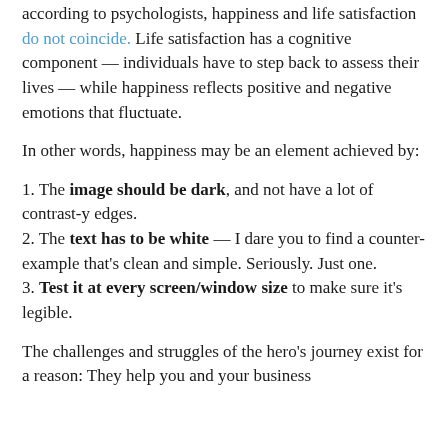according to psychologists, happiness and life satisfaction do not coincide. Life satisfaction has a cognitive component — individuals have to step back to assess their lives — while happiness reflects positive and negative emotions that fluctuate.
In other words, happiness may be an element achieved by:
1. The image should be dark, and not have a lot of contrast-y edges.
2. The text has to be white — I dare you to find a counter-example that's clean and simple. Seriously. Just one.
3. Test it at every screen/window size to make sure it's legible.
The challenges and struggles of the hero's journey exist for a reason: They help you and your business